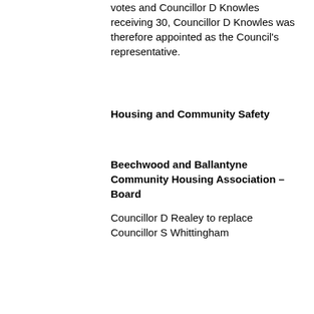votes and Councillor D Knowles receiving 30, Councillor D Knowles was therefore appointed as the Council's representative.
Housing and Community Safety
Beechwood and Ballantyne Community Housing Association – Board
Councillor D Realey to replace Councillor S Whittingham
Social Care and Inclusion
Wirral University Teaching Hospital Foundation Trust – Governors
Interim Director of Adult Social Services, H Cooper, to replace former Director, J Webb, as deputy.
Corporate Resources
West Kirby Charities